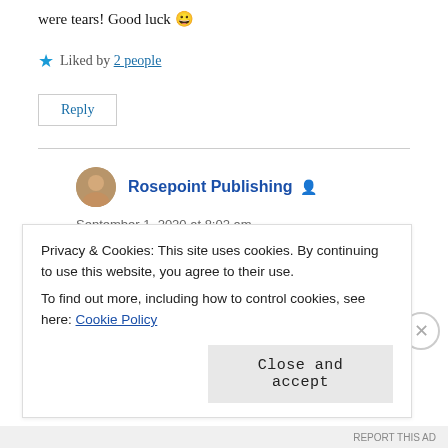were tears! Good luck 😀
★ Liked by 2 people
Reply
Rosepoint Publishing
September 1, 2020 at 8:02 am
You did better than I…i have to go back even
Privacy & Cookies: This site uses cookies. By continuing to use this website, you agree to their use.
To find out more, including how to control cookies, see here: Cookie Policy
Close and accept